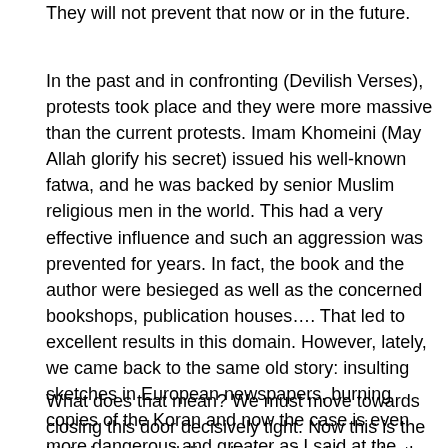They will not prevent that now or in the future.
In the past and in confronting (Devilish Verses), protests took place and they were more massive than the current protests. Imam Khomeini (May Allah glorify his secret) issued his well-known fatwa, and he was backed by senior Muslim religious men in the world. This had a very effective influence and such an aggression was prevented for years. In fact, the book and the author were besieged as well as the concerned bookshops, publication houses…. That led to excellent results in this domain. However, lately, we came back to the same old story: insulting sketches in European newspapers, burning copies of the Koran and now the case is even more dangerous and greater as I said at the beginning of my word.
What does that mean? We must move towards closing this door decisively tight. Now this is the historic responsibility which is shouldered by the